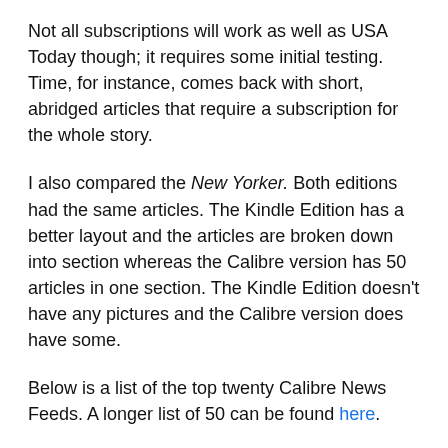Not all subscriptions will work as well as USA Today though; it requires some initial testing. Time, for instance, comes back with short, abridged articles that require a subscription for the whole story.
I also compared the New Yorker. Both editions had the same articles. The Kindle Edition has a better layout and the articles are broken down into section whereas the Calibre version has 50 articles in one section. The Kindle Edition doesn't have any pictures and the Calibre version does have some.
Below is a list of the top twenty Calibre News Feeds. A longer list of 50 can be found here.
Make sure to check out this post for help getting started with Calibre.